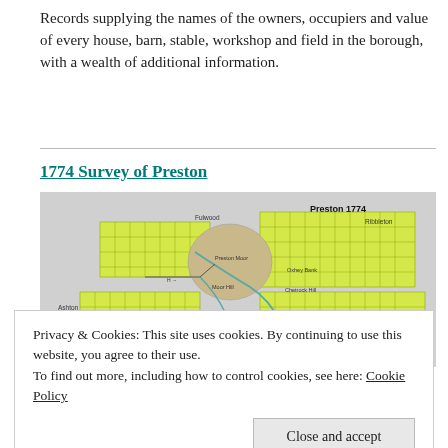Records supplying the names of the owners, occupiers and value of every house, barn, stable, workshop and field in the borough, with a wealth of additional information.
1774 Survey of Preston
[Figure (map): A historical map of Preston 1774 showing land parcels in yellow-green with roads, rivers, and labeled locations including Fulwood, Ribbleton, Ashton, Tubert Hall, Hole House, Preston Moor, Moor Hill, Oxhey Bank, Chetrock Hill.]
Privacy & Cookies: This site uses cookies. By continuing to use this website, you agree to their use.
To find out more, including how to control cookies, see here: Cookie Policy
Close and accept